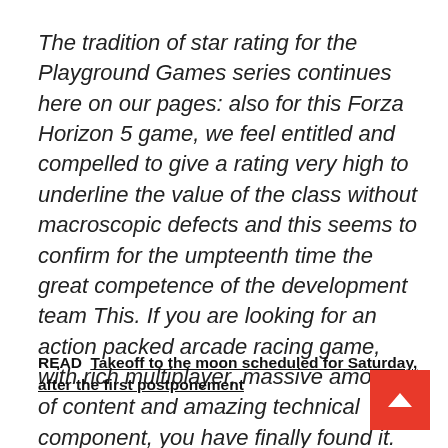The tradition of star rating for the Playground Games series continues here on our pages: also for this Forza Horizon 5 game, we feel entitled and compelled to give a rating very high to underline the value of the class without macroscopic defects and this seems to confirm for the umpteenth time the great competence of the development team This. If you are looking for an action packed arcade racing game, with rich multiplayer, massive amount of content and amazing technical component, you have finally found it.
READ  Takeoff to the moon scheduled for Saturday, after the first postponement